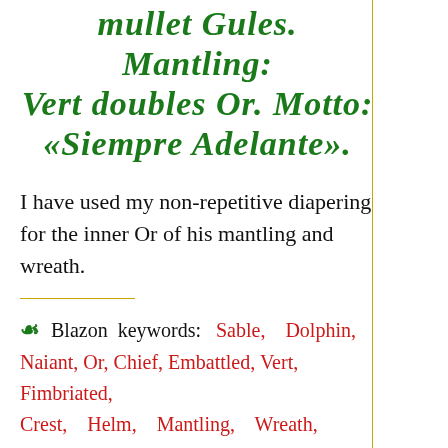mullet Gules. Mantling: Vert doubles Or. Motto: «Siempre Adelante».
I have used my non-repetitive diapering for the inner Or of his mantling and wreath.
☙ Blazon keywords: Sable, Dolphin, Naiant, Or, Chief, Embattled, Vert, Fimbriated, Crest, Helm, Mantling, Wreath, Crest, Speaking, Proper, Grasping, Mullet, Gules and Motto (motivation).